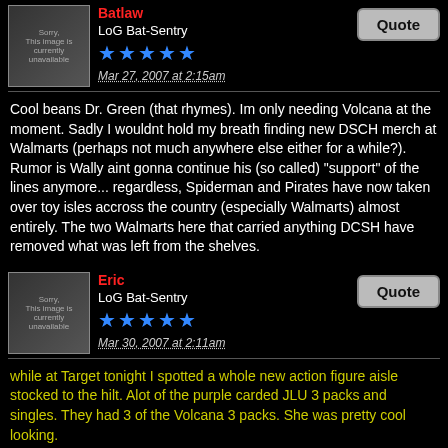Batlaw
LoG Bat-Sentry
Mar 27, 2007 at 2:15am
Cool beans Dr. Green (that rhymes). Im only needing Volcana at the moment. Sadly I wouldnt hold my breath finding new DSCH merch at Walmarts (perhaps not much anywhere else either for a while?). Rumor is Wally aint gonna continue his (so called) "support" of the lines anymore... regardless, Spiderman and Pirates have now taken over toy isles accross the country (especially Walmarts) almost entirely. The two Walmarts here that carried anything DCSH have removed what was left from the shelves.
Eric
LoG Bat-Sentry
Mar 30, 2007 at 2:11am
while at Target tonight I spotted a whole new action figure aisle stocked to the hilt. Alot of the purple carded JLU 3 packs and singles. They had 3 of the Volcana 3 packs. She was pretty cool looking.
robertwayne
Legions Of Gothamite
Mar 30, 2007 at 3:11pm